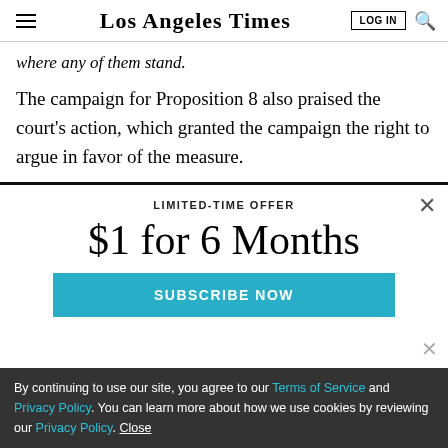Los Angeles Times
where any of them stand.
The campaign for Proposition 8 also praised the court's action, which granted the campaign the right to argue in favor of the measure.
LIMITED-TIME OFFER
$1 for 6 Months
SUBSCRIBE NOW
By continuing to use our site, you agree to our Terms of Service and Privacy Policy. You can learn more about how we use cookies by reviewing our Privacy Policy. Close